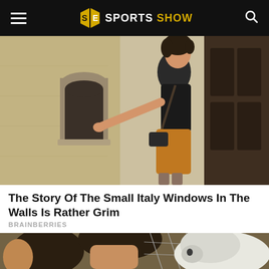Sports Show
[Figure (photo): Woman in black t-shirt and orange/mustard pants pointing at a small arched window niche in a stone wall on an Italian street]
The Story Of The Small Italy Windows In The Walls Is Rather Grim
BRAINBERRIES
[Figure (photo): Woman closely facing a white wolf or dog through a wire fence outdoors, with another person partially visible on the left]